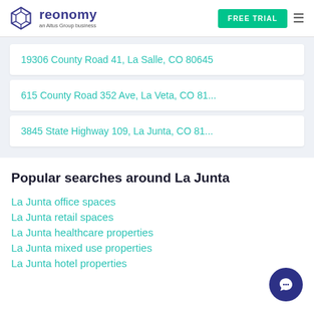reonomy — an Altus Group business | FREE TRIAL
19306 County Road 41, La Salle, CO 80645
615 County Road 352 Ave, La Veta, CO 81...
3845 State Highway 109, La Junta, CO 81...
Popular searches around La Junta
La Junta office spaces
La Junta retail spaces
La Junta healthcare properties
La Junta mixed use properties